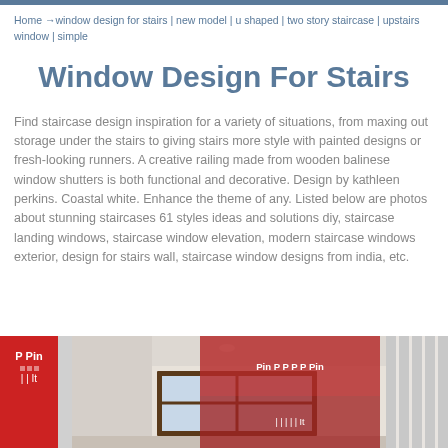Home → window design for stairs | new model | u shaped | two story staircase | upstairs window | simple
Window Design For Stairs
Find staircase design inspiration for a variety of situations, from maxing out storage under the stairs to giving stairs more style with painted designs or fresh-looking runners. A creative railing made from wooden balinese window shutters is both functional and decorative. Design by kathleen perkins. Coastal white. Enhance the theme of any. Listed below are photos about stunning staircases 61 styles ideas and solutions diy, staircase landing windows, staircase window elevation, modern staircase windows exterior, design for stairs wall, staircase window designs from india, etc.
[Figure (photo): Partial view of staircase interior photos with Pinterest sharing buttons overlay]